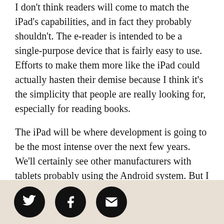I don't think readers will come to match the iPad's capabilities, and in fact they probably shouldn't. The e-reader is intended to be a single-purpose device that is fairly easy to use. Efforts to make them more like the iPad could actually hasten their demise because I think it's the simplicity that people are really looking for, especially for reading books.
The iPad will be where development is going to be the most intense over the next few years. We'll certainly see other manufacturers with tablets probably using the Android system. But I think Apple is going to dominate the tablet market for the next five years at least. In that time, the iPad and tablets will get lighter, thinner, and more versatile, just like the original iPod. And they will get much cheaper, I think
[Figure (other): Social sharing icons: Twitter bird, Facebook f, and email envelope, each in a black circle, on a beige/tan background bar at the bottom of the page.]